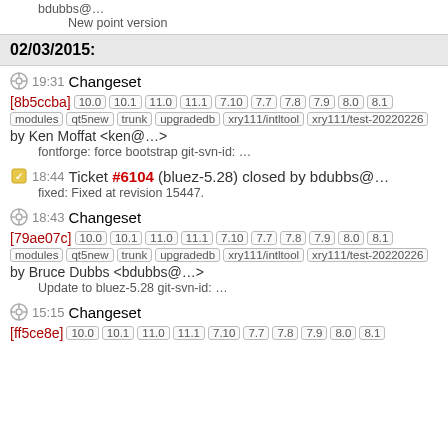bdubbs@… New point version
02/03/2015:
19:31 Changeset [8b5ccba] 10.0 10.1 11.0 11.1 7.10 7.7 7.8 7.9 8.0 8.1 modules qt5new trunk upgradedb xry111/intltool xry111/test-20220226 by Ken Moffat <ken@…> fontforge: force bootstrap git-svn-id: …
18:44 Ticket #6104 (bluez-5.28) closed by bdubbs@… fixed: Fixed at revision 15447.
18:43 Changeset [79ae07c] 10.0 10.1 11.0 11.1 7.10 7.7 7.8 7.9 8.0 8.1 modules qt5new trunk upgradedb xry111/intltool xry111/test-20220226 by Bruce Dubbs <bdubbs@…> Update to bluez-5.28 git-svn-id: …
15:15 Changeset [ff5ce8e] 10.0 10.1 11.0 11.1 7.10 7.7 7.8 7.9 8.0 8.1